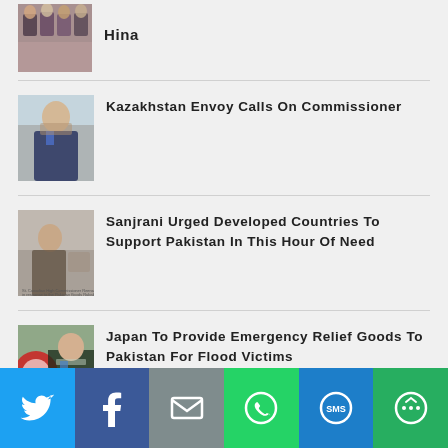[Figure (photo): Group photo with Hina]
Hina
[Figure (photo): Kazakhstan envoy portrait]
Kazakhstan Envoy Calls On Commissioner
[Figure (photo): Sanjrani meeting photo]
Sanjrani Urged Developed Countries To Support Pakistan In This Hour Of Need
[Figure (photo): Japanese official portrait]
Japan To Provide Emergency Relief Goods To Pakistan For Flood Victims